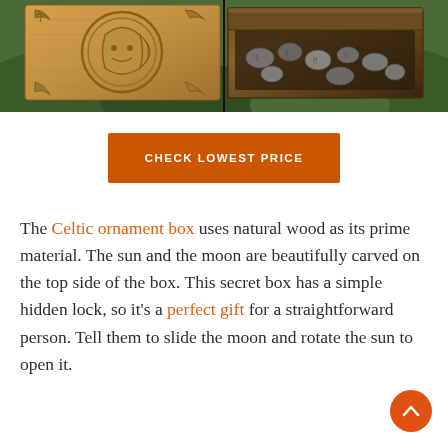[Figure (photo): Two photos side by side: left shows a wooden carved box with Celtic sun/moon design on top, right shows an open wooden box with various small items inside, set against green foliage background.]
CHECK LOWEST PRICE
The Celtic ornament box uses natural wood as its prime material. The sun and the moon are beautifully carved on the top side of the box. This secret box has a simple hidden lock, so it's a perfect gift for a straightforward person. Tell them to slide the moon and rotate the sun to open it.